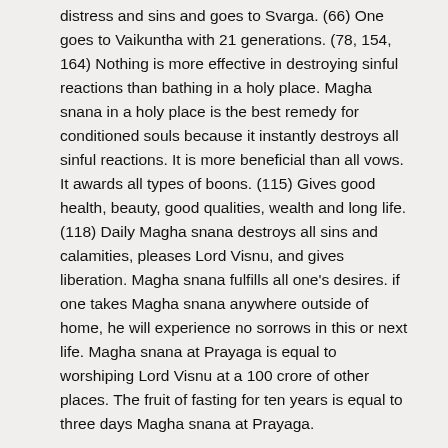distress and sins and goes to Svarga. (66) One goes to Vaikuntha with 21 generations. (78, 154, 164) Nothing is more effective in destroying sinful reactions than bathing in a holy place. Magha snana in a holy place is the best remedy for conditioned souls because it instantly destroys all sinful reactions. It is more beneficial than all vows. It awards all types of boons. (115) Gives good health, beauty, good qualities, wealth and long life. (118) Daily Magha snana destroys all sins and calamities, pleases Lord Visnu, and gives liberation. Magha snana fulfills all one's desires. if one takes Magha snana anywhere outside of home, he will experience no sorrows in this or next life. Magha snana at Prayaga is equal to worshiping Lord Visnu at a 100 crore of other places. The fruit of fasting for ten years is equal to three days Magha snana at Prayaga.
3. Rather let it be that it becomes full moon every day...